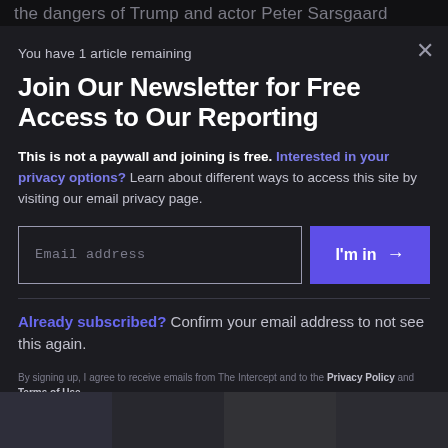the dangers of Trump and actor Peter Sarsgaard
You have 1 article remaining
Join Our Newsletter for Free Access to Our Reporting
This is not a paywall and joining is free. Interested in your privacy options? Learn about different ways to access this site by visiting our email privacy page.
Email address
I'm in →
Already subscribed? Confirm your email address to not see this again.
By signing up, I agree to receive emails from The Intercept and to the Privacy Policy and Terms of Use.